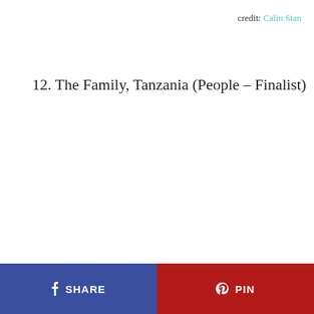credit: Calin Stan
12. The Family, Tanzania (People – Finalist)
SHARE | PIN